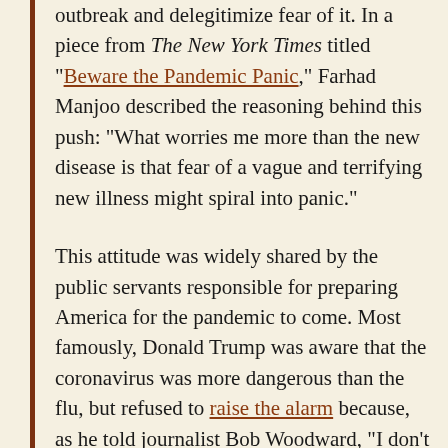outbreak and delegitimize fear of it. In a piece from The New York Times titled "Beware the Pandemic Panic," Farhad Manjoo described the reasoning behind this push: "What worries me more than the new disease is that fear of a vague and terrifying new illness might spiral into panic."
This attitude was widely shared by the public servants responsible for preparing America for the pandemic to come. Most famously, Donald Trump was aware that the coronavirus was more dangerous than the flu, but refused to raise the alarm because, as he told journalist Bob Woodward, "I don't want people to be frightened, I don't want to create panic, as you say, and